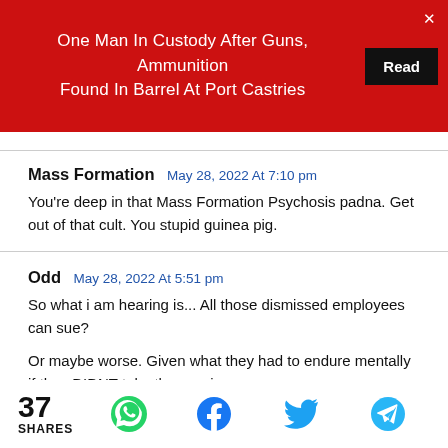One Man In Custody After Guns, Ammunition Found In Barrel At Port Castries  Read
Mass Formation  May 28, 2022 At 7:10 pm
You're deep in that Mass Formation Psychosis padna. Get out of that cult. You stupid guinea pig.
Odd  May 28, 2022 At 5:51 pm
So what i am hearing is... All those dismissed employees can sue?

Or maybe worse. Given what they had to endure mentally if they DIDNT take the vaccine.
37 SHARES